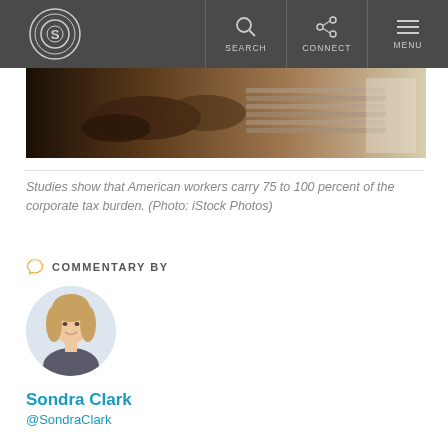S | SEARCH | CONNECT | MENU
[Figure (photo): Close-up photo of hands working with stacked metallic or industrial materials, blurred background]
Studies show that American workers carry 75 to 100 percent of the corporate tax burden. (Photo: iStock Photos)
COMMENTARY BY
[Figure (photo): Headshot of Sondra Clark, a woman with light brown hair]
Sondra Clark
@SondraClark